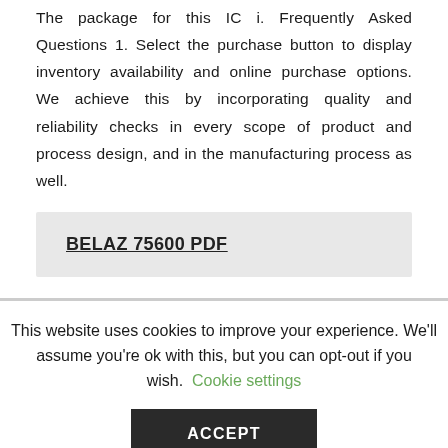The package for this IC i. Frequently Asked Questions 1. Select the purchase button to display inventory availability and online purchase options. We achieve this by incorporating quality and reliability checks in every scope of product and process design, and in the manufacturing process as well.
BELAZ 75600 PDF
This website uses cookies to improve your experience. We'll assume you're ok with this, but you can opt-out if you wish. Cookie settings
ACCEPT